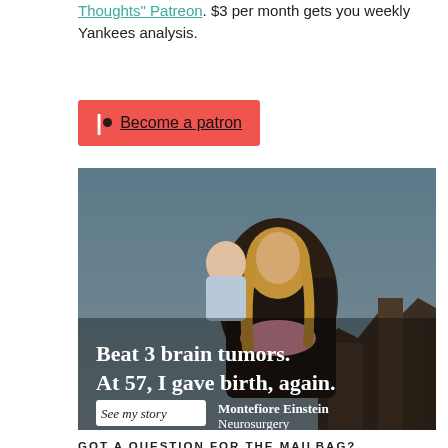Thoughts" Patreon. $3 per month gets you weekly Yankees analysis.
[Figure (other): Red Patreon 'Become a patron' button with Patreon logo icon]
[Figure (photo): Advertisement photo: Woman with baby on her back outdoors at a canyon. Text overlay reads 'Beat 3 brain tumors. At 57, I gave birth, again.' with 'Montefiore Einstein Neurosurgery' branding and 'See my story' button.]
GOT A QUESTION FOR THE MAILBAG?